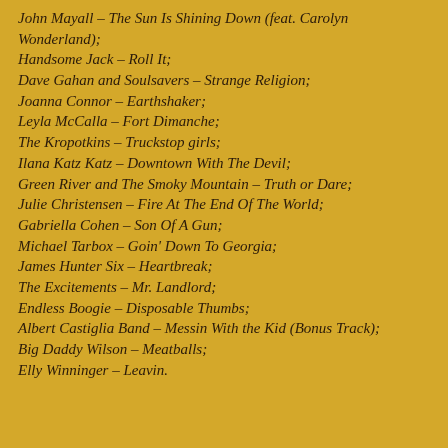John Mayall – The Sun Is Shining Down (feat. Carolyn Wonderland);
Handsome Jack – Roll It;
Dave Gahan and Soulsavers – Strange Religion;
Joanna Connor – Earthshaker;
Leyla McCalla – Fort Dimanche;
The Kropotkins – Truckstop girls;
Ilana Katz Katz – Downtown With The Devil;
Green River and The Smoky Mountain – Truth or Dare;
Julie Christensen – Fire At The End Of The World;
Gabriella Cohen – Son Of A Gun;
Michael Tarbox – Goin' Down To Georgia;
James Hunter Six – Heartbreak;
The Excitements – Mr. Landlord;
Endless Boogie – Disposable Thumbs;
Albert Castiglia Band – Messin With the Kid (Bonus Track);
Big Daddy Wilson – Meatballs;
Elly Winninger – Leavin.